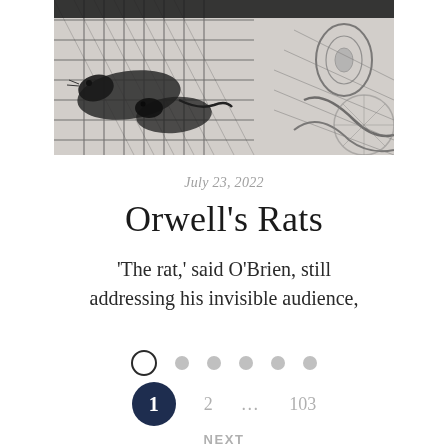[Figure (illustration): Black and white etching/drawing showing rats in a cage or wire grid structure, with a face or figure on the right side, done in detailed crosshatch style.]
July 23, 2022
Orwell's Rats
‘The rat,’ said O’Brien, still addressing his invisible audience,
[Figure (other): Pagination dots: one open circle followed by five filled grey circles]
1   2   ...   103
NEXT